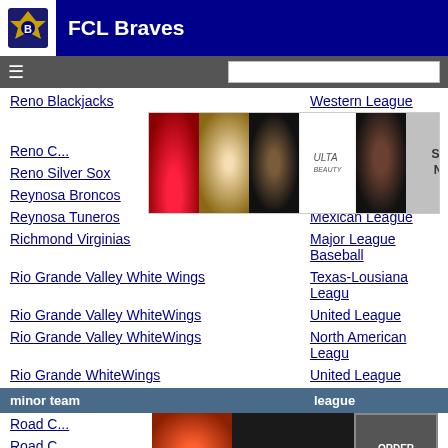FCL Braves
Reno Blackjacks — Western League
Reno Silver Sox — Golden League
Reynosa Broncos — Mexican League
Reynosa Tuneros — Mexican League
Richmond Virginias — Major League Baseball
Rio Grande Valley White Wings — Texas-Lousiana League
Rio Grande Valley WhiteWings — United League
Rio Grande Valley WhiteWings — North American League
Rio Grande WhiteWings — United League
| minor team | league |
| --- | --- |
| Road ... | ...League |
| Road ... |  |
[Figure (advertisement): Ulta Beauty advertisement with makeup images and SHOP NOW button]
[Figure (advertisement): Seamless food delivery advertisement with ORDER NOW button and CLOSE button]